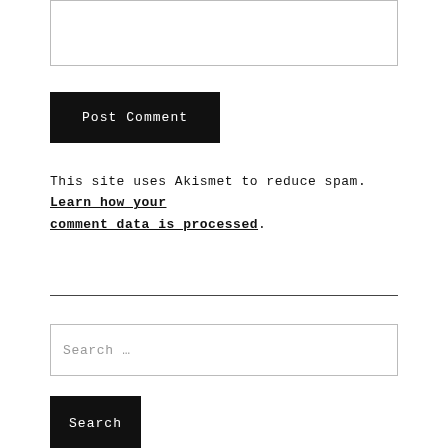[textarea input box]
Post Comment
This site uses Akismet to reduce spam. Learn how your comment data is processed.
Search ...
Search
RECENT POSTS
Playlist for the Pandemic
Outside My Comfort Zone